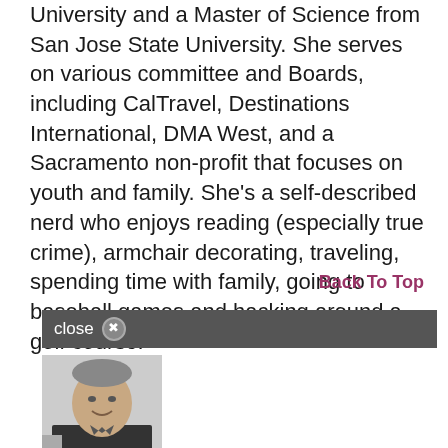University and a Master of Science from San Jose State University. She serves on various committee and Boards, including CalTravel, Destinations International, DMA West, and a Sacramento non-profit that focuses on youth and family. She's a self-described nerd who enjoys reading (especially true crime), armchair decorating, traveling, spending time with family, going to baseball games and hacking around a golf course.
Back To Top
close
[Figure (photo): Black and white headshot photo of a smiling middle-aged man in a dark suit jacket]